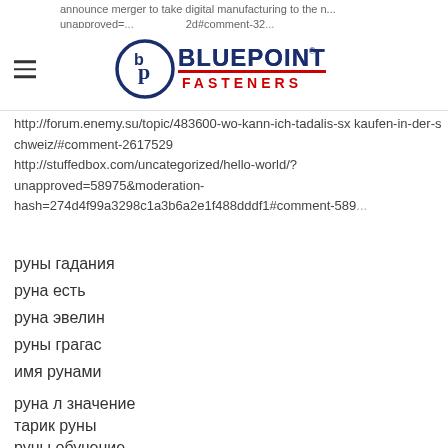Bluepoint Fasteners logo header
unapproved= hash=cfc9b75... 2d#comment-32...
http://forum.enemy.su/topic/483600-wo-kann-ich-tadalis-sx kaufen-in-der-schweiz/#comment-2617529 http://stuffedbox.com/uncategorized/hello-world/?unapproved=58975&moderation-hash=274d4f99a3298c1a3b6a2e1f488dddf1#comment-589...
руны гадания
руна есть
руна эвелин
руны грагас
имя рунами
руна л значение
тарик руны
руны обучение
руны омб значение